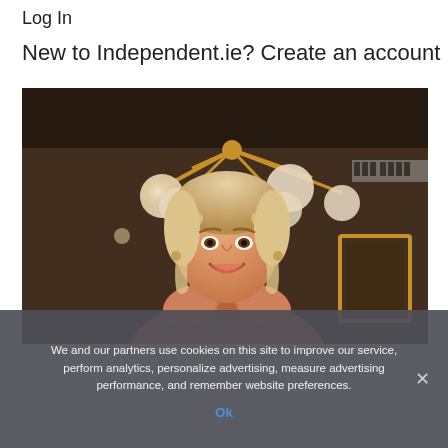Log In
New to Independent.ie? Create an account
[Figure (photo): A smiling young blonde woman wearing a salmon/copper-colored satin bow-front top, standing in a warmly lit room with a gold multi-arm ceiling light fixture with globe bulbs. A mirror and dark walls are visible in the background.]
We and our partners use cookies on this site to improve our service, perform analytics, personalize advertising, measure advertising performance, and remember website preferences.
Ok